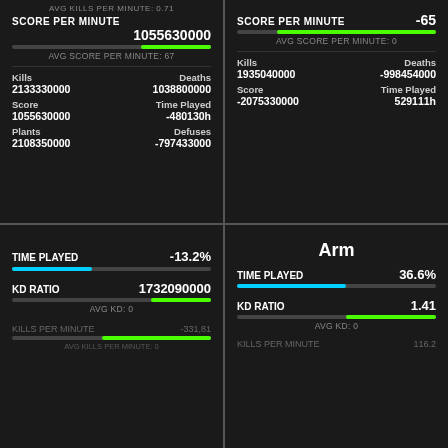AVG KILLS PER MINUTE: 0.71
SCORE PER MINUTE 1055630000
AVG SCORE PER MINUTE: 67
Kills: 2133330000, Deaths: 1038800000
Score: 1055630000, Time Played: -480130h
Plants: 2108350000, Defuses: -797433000
SCORE PER MINUTE -65
AVG SCORE PER MINUTE: 0
Kills: 1935040000, Deaths: -998454000
Score: -2075330000, Time Played: 529111h
TIME PLAYED -13.2%
KD RATIO 1732090000, AVG KD: 0
KILLS PER MINUTE -331,81
AVG KILLS PER MINUTE: 0
Arm
TIME PLAYED 36.6%
KD RATIO 1.41, AVG KD: 0
KILLS PER MINUTE 116.2